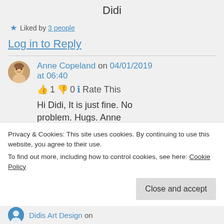Didi
★ Liked by 3 people
Log in to Reply
Anne Copeland on 04/01/2019 at 06:40
👍 1 👎 0 ℹ Rate This
Hi Didi, It is just fine. No problem. Hugs. Anne
Privacy & Cookies: This site uses cookies. By continuing to use this website, you agree to their use.
To find out more, including how to control cookies, see here: Cookie Policy
Close and accept
Didis Art Design on